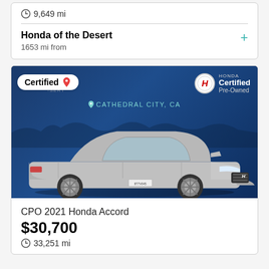9,649 mi
Honda of the Desert
1653 mi from
[Figure (photo): Silver 2021 Honda Accord sedan photographed against a blue dealership backdrop with Joshua trees and 'CATHEDRAL CITY, CA' text. Overlay badges: 'Certified' pill badge on left, Honda Certified Pre-Owned badge on right.]
CPO 2021 Honda Accord
$30,700
33,251 mi